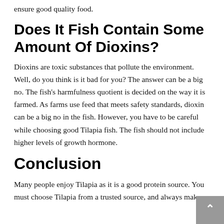ensure good quality food.
Does It Fish Contain Some Amount Of Dioxins?
Dioxins are toxic substances that pollute the environment. Well, do you think is it bad for you? The answer can be a big no. The fish's harmfulness quotient is decided on the way it is farmed. As farms use feed that meets safety standards, dioxin can be a big no in the fish. However, you have to be careful while choosing good Tilapia fish. The fish should not include higher levels of growth hormone.
Conclusion
Many people enjoy Tilapia as it is a good protein source. You must choose Tilapia from a trusted source, and always make